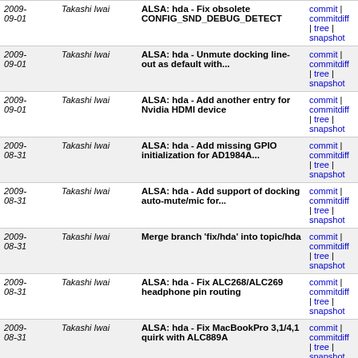| Date | Author | Message | Links |
| --- | --- | --- | --- |
| 2009-09-01 | Takashi Iwai | ALSA: hda - Fix obsolete CONFIG_SND_DEBUG_DETECT | commit | commitdiff | tree | snapshot |
| 2009-09-01 | Takashi Iwai | ALSA: hda - Unmute docking line-out as default with... | commit | commitdiff | tree | snapshot |
| 2009-09-01 | Takashi Iwai | ALSA: hda - Add another entry for Nvidia HDMI device | commit | commitdiff | tree | snapshot |
| 2009-08-31 | Takashi Iwai | ALSA: hda - Add missing GPIO initialization for AD1984A... | commit | commitdiff | tree | snapshot |
| 2009-08-31 | Takashi Iwai | ALSA: hda - Add support of docking auto-mute/mic for... | commit | commitdiff | tree | snapshot |
| 2009-08-31 | Takashi Iwai | Merge branch 'fix/hda' into topic/hda | commit | commitdiff | tree | snapshot |
| 2009-08-31 | Takashi Iwai | ALSA: hda - Fix ALC268/ALC269 headphone pin routing | commit | commitdiff | tree | snapshot |
| 2009-08-31 | Takashi Iwai | ALSA: hda - Fix MacBookPro 3,1/4,1 quirk with ALC889A | commit | commitdiff | tree | snapshot |
| 2009-08-31 | Takashi Iwai | ALSA: hda - Add missing mux check for VT1708 | commit | commitdiff | tree | snapshot |
| 2009-08-28 | Takashi Iwai | ALSA: hda - Create "Digital Mic Capture Volume" correct... | commit | commitdiff | tree | snapshot |
| 2009- | Takashi Iwai | ALSA: hda - Add more quirk for | commit |